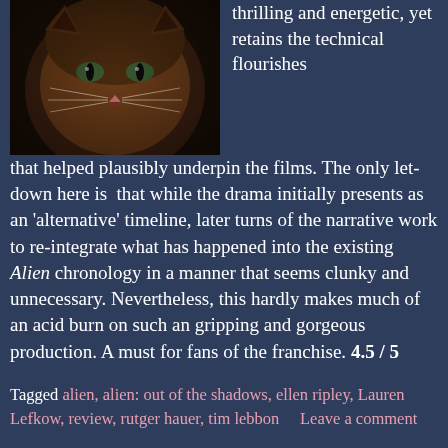[Figure (photo): Close-up photo of a cat's face against a dark background]
thrilling and energetic, yet retains the technical flourishes that helped plausibly underpin the films. The only let-down here is that while the drama initially presents as an 'alternative' timeline, later turns of the narrative work to re-integrate what has happened into the existing Alien chronology in a manner that seems clunky and unnecessary. Nevertheless, this hardly makes much of an acid burn on such an gripping and gorgeous production. A must for fans of the franchise. 4.5 / 5
Tagged alien, alien: out of the shadows, ellen ripley, Lauren Lefkow, review, rutger hauer, tim lebbon    Leave a comment